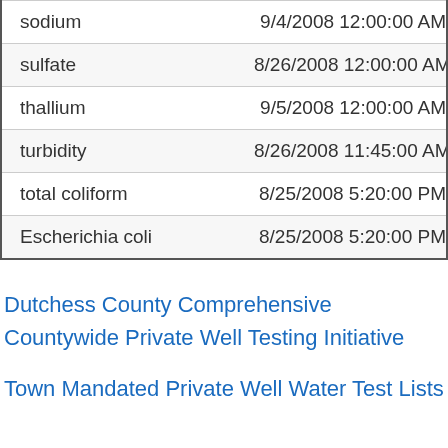| Contaminant | Date |
| --- | --- |
| sodium | 9/4/2008 12:00:00 AM |
| sulfate | 8/26/2008 12:00:00 AM |
| thallium | 9/5/2008 12:00:00 AM |
| turbidity | 8/26/2008 11:45:00 AM |
| total coliform | 8/25/2008 5:20:00 PM |
| Escherichia coli | 8/25/2008 5:20:00 PM |
Dutchess County Comprehensive Countywide Private Well Testing Initiative
Town Mandated Private Well Water Test Lists